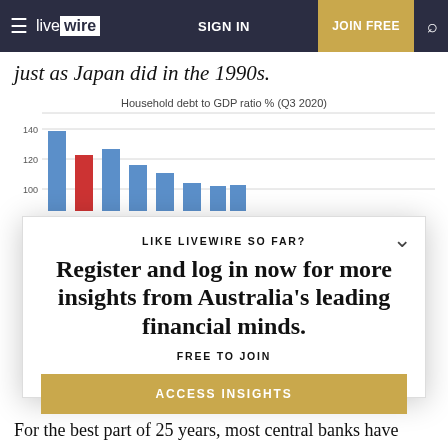live wire | SIGN IN | JOIN FREE
just as Japan did in the 1990s.
[Figure (bar-chart): Household debt to GDP ratio % (Q3 2020)]
LIKE LIVEWIRE SO FAR?
Register and log in now for more insights from Australia's leading financial minds.
FREE TO JOIN
ACCESS INSIGHTS
For the best part of 25 years, most central banks have